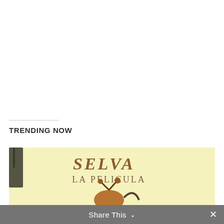TRENDING NOW
[Figure (photo): A movie poster or title card showing text 'SELVA LA PELICULA' on a pale yellow background with an illustrated character holding something below the text.]
Share This ∨  ×